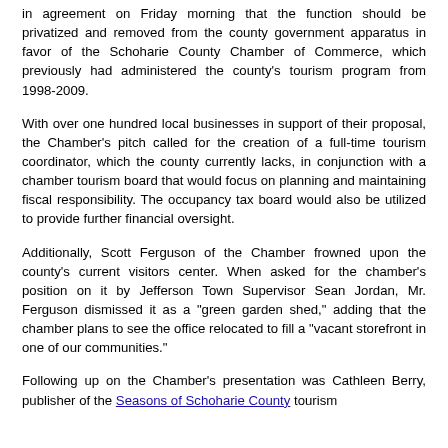in agreement on Friday morning that the function should be privatized and removed from the county government apparatus in favor of the Schoharie County Chamber of Commerce, which previously had administered the county's tourism program from 1998-2009.
With over one hundred local businesses in support of their proposal, the Chamber's pitch called for the creation of a full-time tourism coordinator, which the county currently lacks, in conjunction with a chamber tourism board that would focus on planning and maintaining fiscal responsibility. The occupancy tax board would also be utilized to provide further financial oversight.
Additionally, Scott Ferguson of the Chamber frowned upon the county's current visitors center. When asked for the chamber's position on it by Jefferson Town Supervisor Sean Jordan, Mr. Ferguson dismissed it as a "green garden shed," adding that the chamber plans to see the office relocated to fill a "vacant storefront in one of our communities."
Following up on the Chamber's presentation was Cathleen Berry, publisher of the Seasons of Schoharie County tourism...